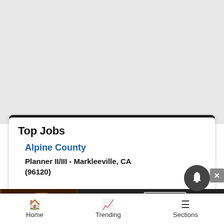[Figure (screenshot): Gray background area representing empty page space]
Top Jobs
Alpine County
Planner II/III - Markleeville, CA (96120)
[Figure (photo): Seamless food delivery advertisement banner showing pizza with red Seamless button and ORDER NOW button]
Home   Trending   Sections